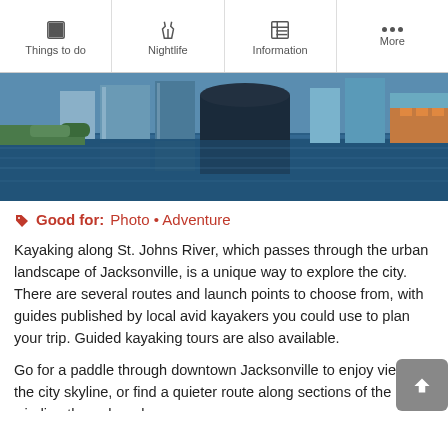Things to do | Nightlife | Information | More
[Figure (photo): Skyline of Jacksonville seen from across the St. Johns River, showing buildings and blue water reflection]
Good for: Photo • Adventure
Kayaking along St. Johns River, which passes through the urban landscape of Jacksonville, is a unique way to explore the city. There are several routes and launch points to choose from, with guides published by local avid kayakers you could use to plan your trip. Guided kayaking tours are also available.
Go for a paddle through downtown Jacksonville to enjoy views of the city skyline, or find a quieter route along sections of the river winding through parks or